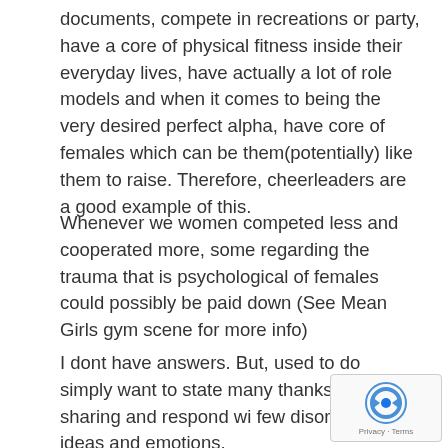documents, compete in recreations or party, have a core of physical fitness inside their everyday lives, have actually a lot of role models and when it comes to being the very desired perfect alpha, have core of females which can be them(potentially) like them to raise. Therefore, cheerleaders are a good example of this.
Whenever we women competed less and cooperated more, some regarding the trauma that is psychological of females could possibly be paid down (See Mean Girls gym scene for more info)
I dont have answers. But, used to do simply want to state many thanks for sharing and respond wi few disorganized ideas and emotions.
[Figure (logo): reCAPTCHA logo with Privacy and Terms text]